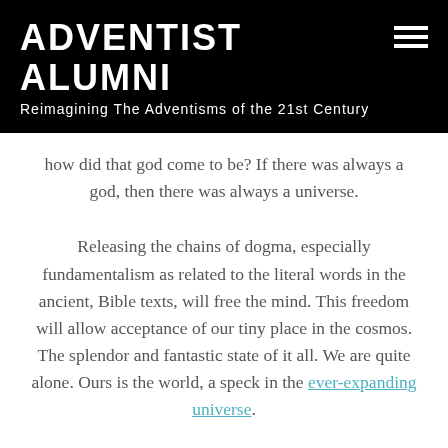ADVENTIST ALUMNI
Reimagining The Adventisms of the 21st Century
how did that god come to be? If there was always a god, then there was always a universe.
Releasing the chains of dogma, especially fundamentalism as related to the literal words in the ancient, Bible texts, will free the mind. This freedom will allow acceptance of our tiny place in the cosmos. The splendor and fantastic state of it all. We are quite alone. Ours is the world, a speck in the ever-expanding universe.
The universe is greater and more phenomenal than notions of god. We are the cosmos, from it we became